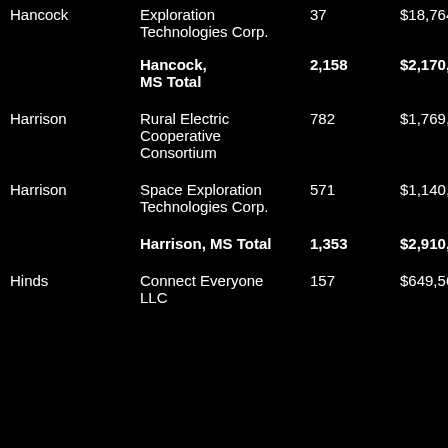| County | Company | Count | Amount |
| --- | --- | --- | --- |
| Hancock | Exploration Technologies Corp. | 37 | $18,764 |
|  | Hancock, MS Total | 2,158 | $2,170,256 |
| Harrison | Rural Electric Cooperative Consortium | 782 | $1,769,748 |
| Harrison | Space Exploration Technologies Corp. | 571 | $1,140,645 |
|  | Harrison, MS Total | 1,353 | $2,910,393 |
| Hinds | Connect Everyone LLC | 157 | $649,56… |